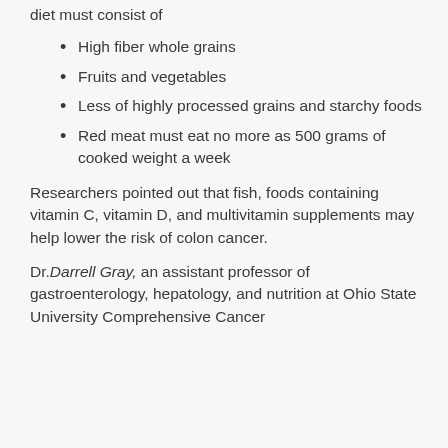diet must consist of
High fiber whole grains
Fruits and vegetables
Less of highly processed grains and starchy foods
Red meat must eat no more as 500 grams of cooked weight a week
Researchers pointed out that fish, foods containing vitamin C, vitamin D, and multivitamin supplements may help lower the risk of colon cancer.
Dr.Darrell Gray, an assistant professor of gastroenterology, hepatology, and nutrition at Ohio State University Comprehensive Cancer